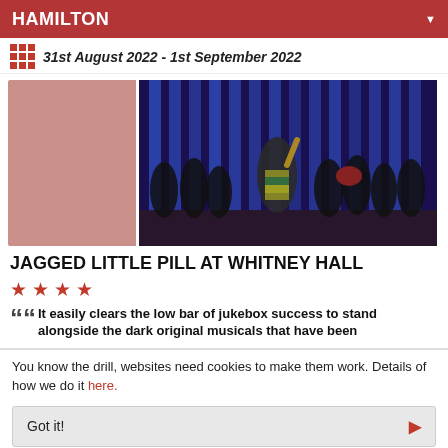HAMILTON
31st August 2022 - 1st September 2022
[Figure (photo): Stage performance photo showing dancers on a dark stage with blue lighting strips in background. A central performer in a striped outfit points upward, surrounded by backup dancers in dark clothing.]
JAGGED LITTLE PILL AT WHITNEY HALL
““ It easily clears the low bar of jukebox success to stand alongside the dark original musicals that have been
You know the drill, websites need cookies to make them work. Details of how we do it here.
Got it!